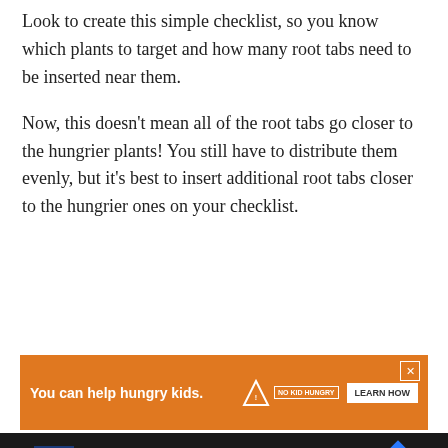Look to create this simple checklist, so you know which plants to target and how many root tabs need to be inserted near them.
Now, this doesn’t mean all of the root tabs go closer to the hungrier plants! You still have to distribute them evenly, but it’s best to insert additional root tabs closer to the hungrier ones on your checklist.
[Figure (other): Orange advertisement banner reading 'You can help hungry kids.' with No Kid Hungry logo and 'LEARN HOW' button, with an X close button in the top right corner.]
[Figure (other): Dark bottom navigation bar with CM logo, checkmarks for In-store shopping, Curbside pickup, and Delivery, a blue diamond navigation icon, and a weather icon.]